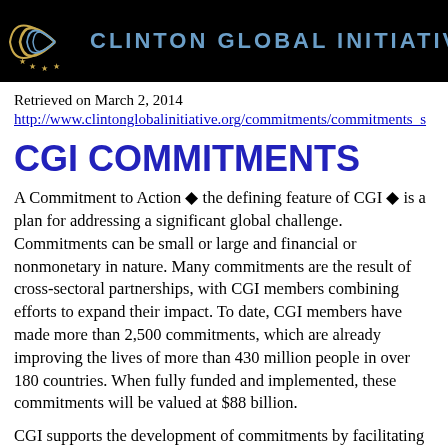[Figure (logo): Clinton Global Initiative banner with black background, gold/yellow star logo on left and blue text 'CLINTON GLOBAL INITIATIVE' on right]
Retrieved on March 2, 2014
http://www.clintonglobalinitiative.org/commitments/commitments_s
CGI COMMITMENTS
A Commitment to Action ◆ the defining feature of CGI ◆ is a plan for addressing a significant global challenge. Commitments can be small or large and financial or nonmonetary in nature. Many commitments are the result of cross-sectoral partnerships, with CGI members combining efforts to expand their impact. To date, CGI members have made more than 2,500 commitments, which are already improving the lives of more than 430 million people in over 180 countries. When fully funded and implemented, these commitments will be valued at $88 billion.
CGI supports the development of commitments by facilitating dialogue, providing opportunities to identify partners, showcasing the actions taken by commitment-makers, and communicating results. CGI serves as a catalyst for action, but does not engage in